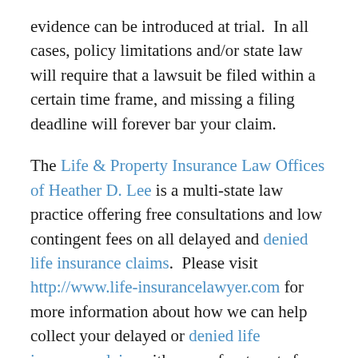evidence can be introduced at trial.  In all cases, policy limitations and/or state law will require that a lawsuit be filed within a certain time frame, and missing a filing deadline will forever bar your claim.
The Life & Property Insurance Law Offices of Heather D. Lee is a multi-state law practice offering free consultations and low contingent fees on all delayed and denied life insurance claims.  Please visit http://www.life-insurancelawyer.com for more information about how we can help collect your delayed or denied life insurance claim with no up-front costs for you.